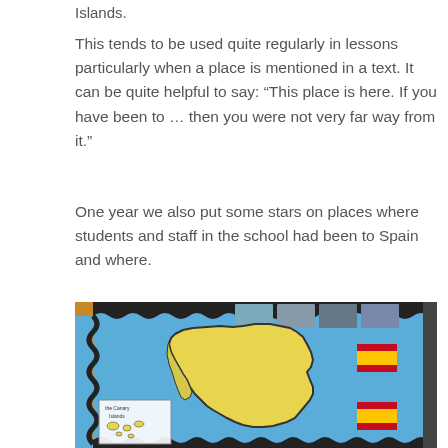Islands.
This tends to be used quite regularly in lessons particularly when a place is mentioned in a text. It can be quite helpful to say: “This place is here. If you have been to … then you were not very far way from it.”
One year we also put some stars on places where students and staff in the school had been to Spain and where.
[Figure (photo): Classroom bulletin board with a blue background, featuring a large yellow map of Spain with black outline. Spanish flags (red and yellow stripes) are pinned on the right side. Photos are pinned along the top. A hand-drawn inset of the Canary Islands is in the lower left.]